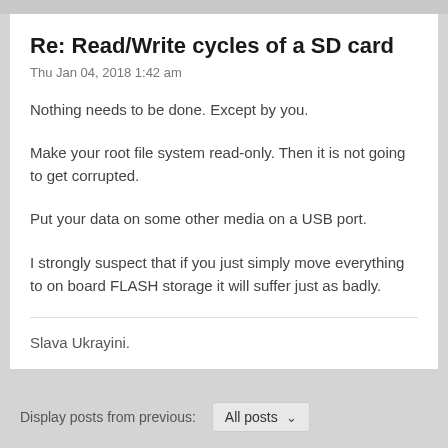Re: Read/Write cycles of a SD card
Thu Jan 04, 2018 1:42 am
Nothing needs to be done. Except by you.
Make your root file system read-only. Then it is not going to get corrupted.
Put your data on some other media on a USB port.
I strongly suspect that if you just simply move everything to on board FLASH storage it will suffer just as badly.
Slava Ukrayini.
Display posts from previous:  All posts